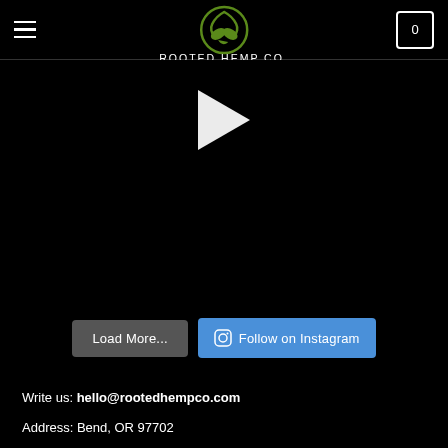ROOTED HEMP CO.
[Figure (screenshot): Video player with white play button triangle on black background]
Load More...
Follow on Instagram
Write us: hello@rootedhempco.com
Address: Bend, OR 97702